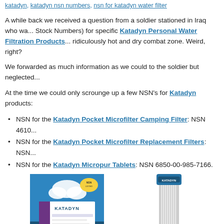katadyn, katadyn nsn numbers, nsn for katadyn water filter
A while back we received a question from a soldier stationed in Iraq who wa... Stock Numbers) for specific Katadyn Personal Water Filtration Products... ridiculously hot and dry combat zone. Weird, right?
We forwarded as much information as we could to the soldier but neglected...
At the time we could only scrounge up a few NSN's for Katadyn products:
NSN for the Katadyn Pocket Microfilter Camping Filter: NSN 4610...
NSN for the Katadyn Pocket Microfilter Replacement Filters: NSN...
NSN for the Katadyn Micropur Tablets: NSN 6850-00-985-7166.
[Figure (photo): Product box of Katadyn Micropur water purification tablets]
[Figure (photo): Katadyn water filter cartridge, cylindrical white pleated filter with blue cap]